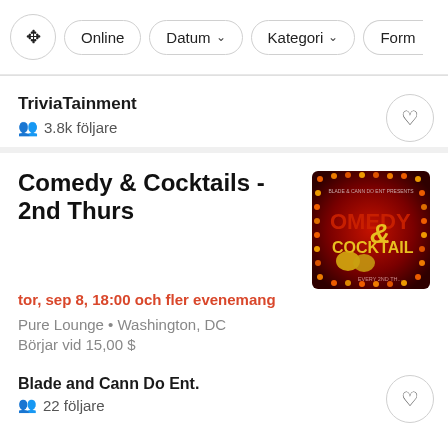Filter buttons: [filter icon] Online  Datum ▾  Kategori ▾  Form...
TriviaTainment
3.8k följare
Comedy & Cocktails - 2nd Thurs
tor, sep 8, 18:00 och fler evenemang
Pure Lounge • Washington, DC
Börjar vid 15,00 $
[Figure (photo): Comedy & Cocktails event poster with theater masks on dark red background with orange lights]
Blade and Cann Do Ent.
22 följare